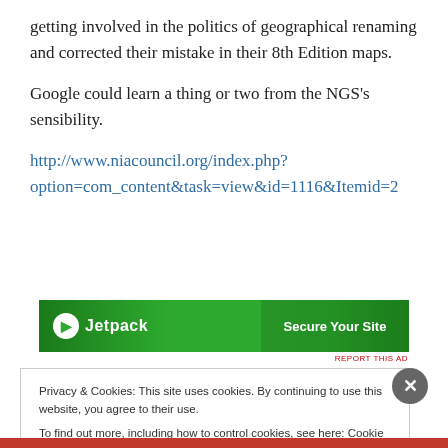getting involved in the politics of geographical renaming and corrected their mistake in their 8th Edition maps.
Google could learn a thing or two from the NGS's sensibility.
http://www.niacouncil.org/index.php?option=com_content&task=view&id=1116&Itemid=2
[Figure (other): Jetpack advertisement banner with green background showing logo and 'Secure Your Site' call to action]
Privacy & Cookies: This site uses cookies. By continuing to use this website, you agree to their use.
To find out more, including how to control cookies, see here: Cookie Policy
Close and accept